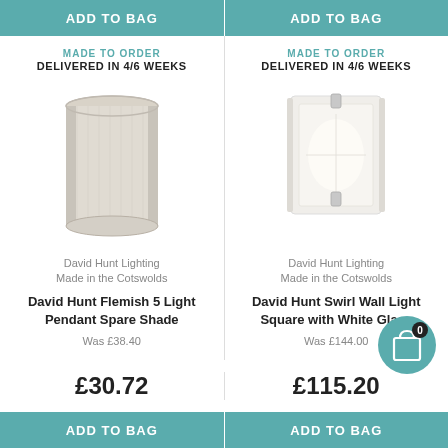ADD TO BAG
ADD TO BAG
MADE TO ORDER
DELIVERED IN 4/6 WEEKS
MADE TO ORDER
DELIVERED IN 4/6 WEEKS
[Figure (photo): David Hunt Flemish 5 Light Pendant Spare Shade - cylindrical fabric drum shade in beige/cream]
[Figure (photo): David Hunt Swirl Wall Light Square with White Glass - square frosted glass wall light with chrome fittings]
David Hunt Lighting
Made in the Cotswolds
David Hunt Lighting
Made in the Cotswolds
David Hunt Flemish 5 Light Pendant Spare Shade
David Hunt Swirl Wall Light Square with White Glass
Was £38.40
Was £144.00
£30.72
£115.20
ADD TO BAG
ADD TO BAG